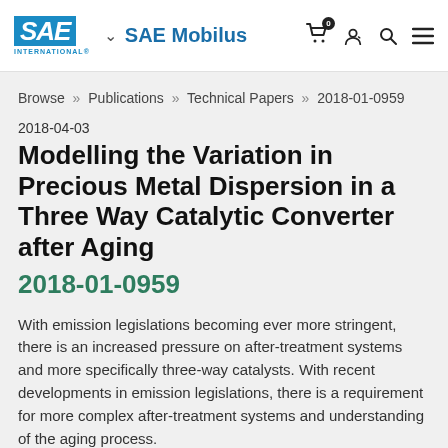SAE Mobilus
Browse » Publications » Technical Papers » 2018-01-0959
2018-04-03
Modelling the Variation in Precious Metal Dispersion in a Three Way Catalytic Converter after Aging
2018-01-0959
With emission legislations becoming ever more stringent, there is an increased pressure on after-treatment systems and more specifically three-way catalysts. With recent developments in emission legislations, there is a requirement for more complex after-treatment systems and understanding of the aging process.